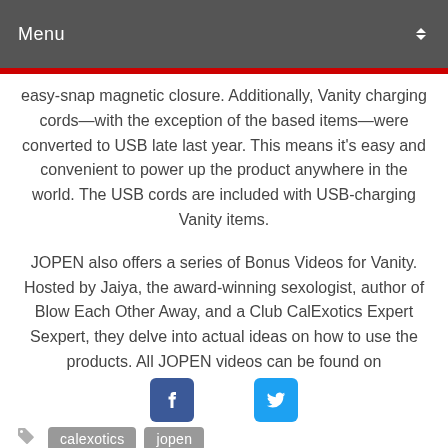Menu
easy-snap magnetic closure. Additionally, Vanity charging cords—with the exception of the based items—were converted to USB late last year. This means it's easy and convenient to power up the product anywhere in the world. The USB cords are included with USB-charging Vanity items.
JOPEN also offers a series of Bonus Videos for Vanity. Hosted by Jaiya, the award-winning sexologist, author of Blow Each Other Away, and a Club CalExotics Expert Sexpert, they delve into actual ideas on how to use the products. All JOPEN videos can be found on
[Figure (other): Facebook and Twitter social media icon buttons]
calexotics
jopen